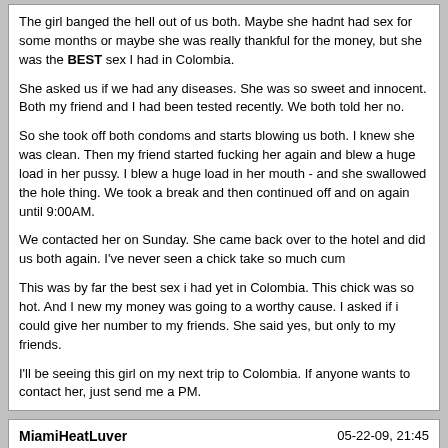The girl banged the hell out of us both. Maybe she hadnt had sex for some months or maybe she was really thankful for the money, but she was the BEST sex I had in Colombia.

She asked us if we had any diseases. She was so sweet and innocent. Both my friend and I had been tested recently. We both told her no.

So she took off both condoms and starts blowing us both. I knew she was clean. Then my friend started fucking her again and blew a huge load in her pussy. I blew a huge load in her mouth - and she swallowed the hole thing. We took a break and then continued off and on again until 9:00AM.

We contacted her on Sunday. She came back over to the hotel and did us both again. I've never seen a chick take so much cum

This was by far the best sex i had yet in Colombia. This chick was so hot. And I new my money was going to a worthy cause. I asked if i could give her number to my friends. She said yes, but only to my friends.

I'll be seeing this girl on my next trip to Colombia. If anyone wants to contact her, just send me a PM.
MiamiHeatLuver | 05-22-09, 21:45

I recently went on a Road Trip to Santa Marta. I stayed in the Hotel Tamaca on Rodadero. The location was great. The service at the hotel was good. Nice spot for the weekend.

I went to La Puerta on Thursday night. The place was full, the girls were only subpar. I bumped into this American guy from LA there. He has lived there for 4 years. He knows the town inside and out.

This guy was great. He gave me the low down on all the girls in Santa Marta. The next thing I know, were back at my place banging three hot non-pro's.

The next day, the girls leave. We hang out on the beach all day drinking Colombia Club. Then we see this smoking chick on the beach. And, he knows...